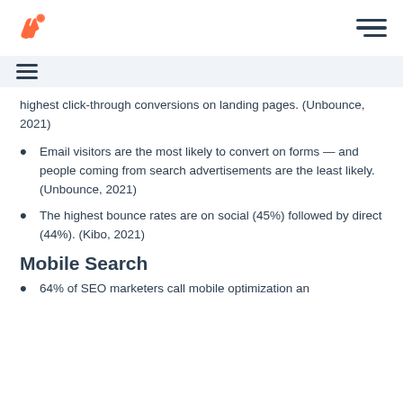HubSpot logo and navigation
highest click-through conversions on landing pages. (Unbounce, 2021)
Email visitors are the most likely to convert on forms — and people coming from search advertisements are the least likely. (Unbounce, 2021)
The highest bounce rates are on social (45%) followed by direct (44%). (Kibo, 2021)
Mobile Search
64% of SEO marketers call mobile optimization an